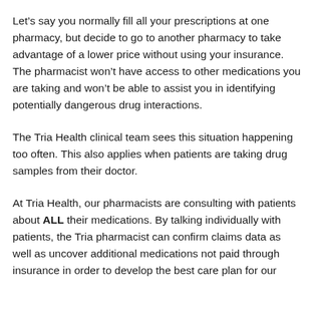Let's say you normally fill all your prescriptions at one pharmacy, but decide to go to another pharmacy to take advantage of a lower price without using your insurance. The pharmacist won't have access to other medications you are taking and won't be able to assist you in identifying potentially dangerous drug interactions.
The Tria Health clinical team sees this situation happening too often. This also applies when patients are taking drug samples from their doctor.
At Tria Health, our pharmacists are consulting with patients about ALL their medications. By talking individually with patients, the Tria pharmacist can confirm claims data as well as uncover additional medications not paid through insurance in order to develop the best care plan for our